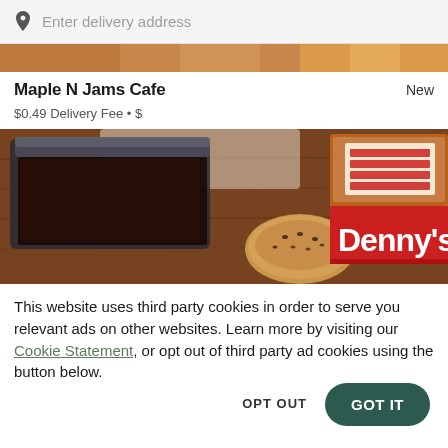[Figure (screenshot): Search bar with location pin icon and placeholder text 'Enter delivery address' on a light grey background]
[Figure (photo): Narrow strip of food images at the top of the restaurant listing]
Maple N Jams Cafe
New
$0.49 Delivery Fee • $
[Figure (photo): Denny's branded takeout box with a bagel/bread item visible on a wooden surface, plastic container in background]
This website uses third party cookies in order to serve you relevant ads on other websites. Learn more by visiting our Cookie Statement, or opt out of third party ad cookies using the button below.
OPT OUT
GOT IT